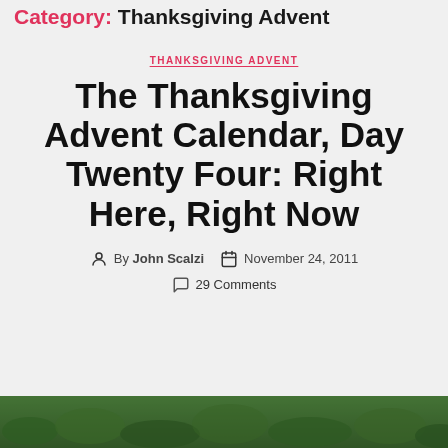Category: Thanksgiving Advent
THANKSGIVING ADVENT
The Thanksgiving Advent Calendar, Day Twenty Four: Right Here, Right Now
By John Scalzi  November 24, 2011
29 Comments
[Figure (photo): Bottom strip showing a green outdoor/nature photo, partially visible at the bottom of the page]